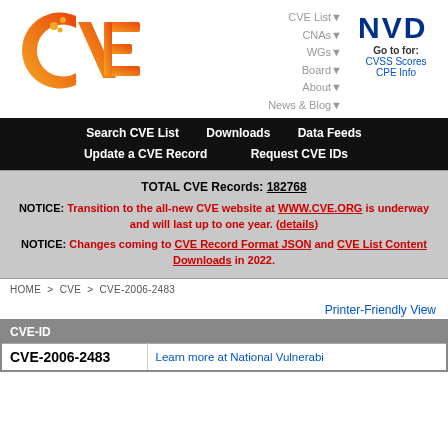[Figure (logo): CVE logo in orange/yellow gradient with dots]
CVE List▼ CNAs▼ WGs▼ Board▼ About▼ News & Blog▼
[Figure (logo): NVD logo - dark blue bold text]
Go to for: CVSS Scores CPE Info
Search CVE List   Downloads   Data Feeds   Update a CVE Record   Request CVE IDs
TOTAL CVE Records: 182768
NOTICE: Transition to the all-new CVE website at WWW.CVE.ORG is underway and will last up to one year. (details)
NOTICE: Changes coming to CVE Record Format JSON and CVE List Content Downloads in 2022.
HOME > CVE > CVE-2006-2483
Printer-Friendly View
| CVE-ID |
| --- |
| CVE-2006-2483 | Learn more at National Vulnerabi... |